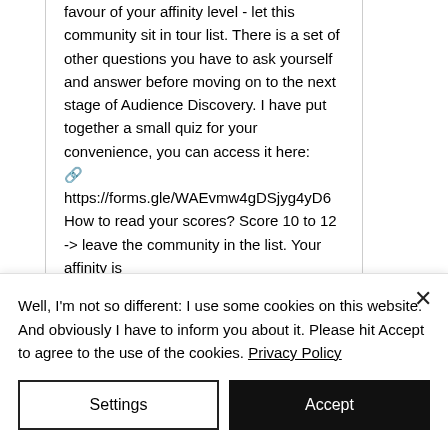favour of your affinity level - let this community sit in tour list. There is a set of other questions you have to ask yourself and answer before moving on to the next stage of Audience Discovery. I have put together a small quiz for your convenience, you can access it here: 🔗 https://forms.gle/WAEvmw4gDSjyg4yD6 How to read your scores? Score 10 to 12 -> leave the community in the list. Your affinity is
Well, I'm not so different: I use some cookies on this website. And obviously I have to inform you about it. Please hit Accept to agree to the use of the cookies. Privacy Policy